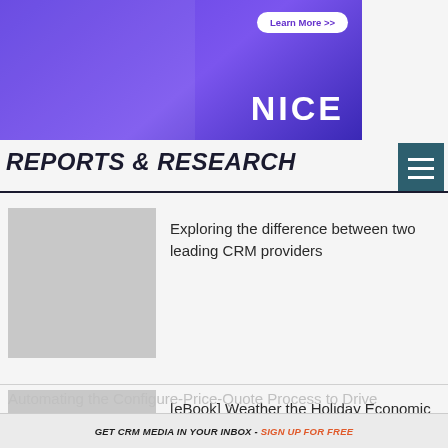[Figure (illustration): Purple/violet banner advertisement with a rocket and 'Learn More >>' button, showing 'NICE' branding logo in white text]
[Figure (infographic): Dark teal hamburger menu icon with three white horizontal lines]
REPORTS & RESEARCH
[Figure (photo): Gray placeholder thumbnail image for article about CRM providers]
Exploring the difference between two leading CRM providers
[Figure (photo): Gray placeholder thumbnail image for eBook article]
[eBook] Weather the Holiday Economic Storm: 5 Fixes You Must Make to Your eCommerce Website Before Black Friday
Automating the Configure-Price-Quote Process to Drive
GET CRM MEDIA IN YOUR INBOX - SIGN UP FOR FREE